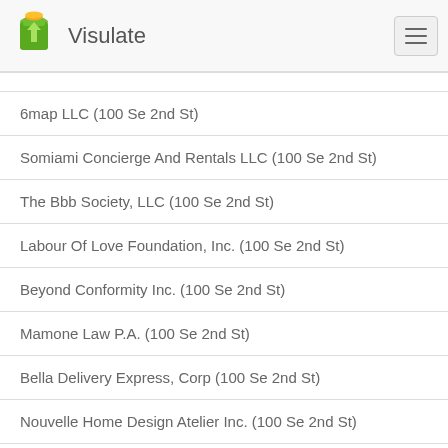Visulate
6map LLC (100 Se 2nd St)
Somiami Concierge And Rentals LLC (100 Se 2nd St)
The Bbb Society, LLC (100 Se 2nd St)
Labour Of Love Foundation, Inc. (100 Se 2nd St)
Beyond Conformity Inc. (100 Se 2nd St)
Mamone Law P.A. (100 Se 2nd St)
Bella Delivery Express, Corp (100 Se 2nd St)
Nouvelle Home Design Atelier Inc. (100 Se 2nd St)
Uncle Lou'S Spices, Inc. (100 Se 2nd St)